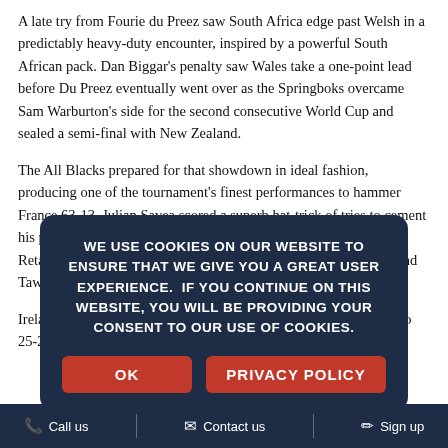A late try from Fourie du Preez saw South Africa edge past Welsh in a predictably heavy-duty encounter, inspired by a powerful South African pack. Dan Biggar's penalty saw Wales take a one-point lead before Du Preez eventually went over as the Springboks overcame Sam Warburton's side for the second consecutive World Cup and sealed a semi-final with New Zealand.
The All Blacks prepared for that showdown in ideal fashion, producing one of the tournament's finest performances to hammer France 63-13. Julian Savea scored a superb hat-trick of tries to cement his place as one of the World Cup's best performers, while Brodie Retallick and Nehe Milner-Skudder, Jerome Kaino, Kieran Read and Tawera Kerr-Barlow also bun...
Ireland... Argentina... Pumas were pinned back... 25-20. But Argentina kept going and eventually sealed an...
[Figure (other): Cookie consent modal overlay with dark blue background. Text reads: WE USE COOKIES ON OUR WEBSITE TO ENSURE THAT WE GIVE YOU A GREAT USER EXPERIENCE. IF YOU CONTINUE ON THIS WEBSITE, YOU WILL BE PROVIDING YOUR CONSENT TO OUR USE OF COOKIES. Two red buttons: OK and PRIVACY POLICY.]
Call us   Contact us   Sign up